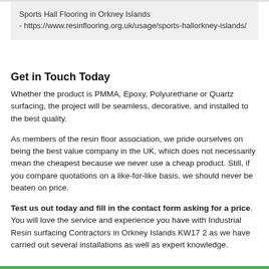Sports Hall Flooring in Orkney Islands - https://www.resinflooring.org.uk/usage/sports-hallorkney-islands/
Get in Touch Today
Whether the product is PMMA, Epoxy, Polyurethane or Quartz surfacing, the project will be seamless, decorative, and installed to the best quality.
As members of the resin floor association, we pride ourselves on being the best value company in the UK, which does not necessarily mean the cheapest because we never use a cheap product. Still, if you compare quotations on a like-for-like basis, we should never be beaten on price.
Test us out today and fill in the contact form asking for a price. You will love the service and experience you have with Industrial Resin surfacing Contractors in Orkney Islands KW17 2 as we have carried out several installations as well as expert knowledge.